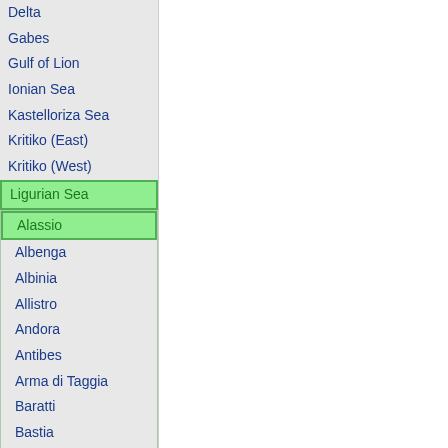Delta
Gabes
Gulf of Lion
Ionian Sea
Kastelloriza Sea
Kritiko (East)
Kritiko (West)
Ligurian Sea
Alassio
Albenga
Albinia
Allistro
Andora
Antibes
Arma di Taggia
Baratti
Bastia
Bordighera
Brutal Beach
Campogli
Cannes
Cap Corse
Cap Ferrat
Cap Sagro
Cavo
Chiavari
Med South
Med Southeast
Mi...